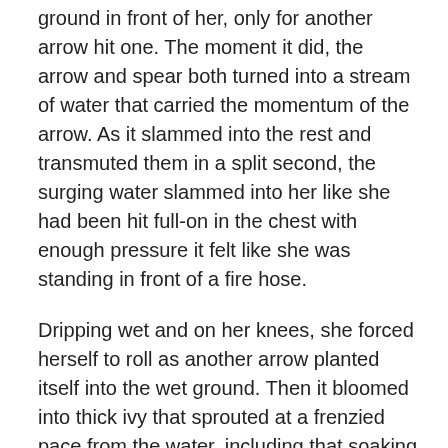ground in front of her, only for another arrow hit one. The moment it did, the arrow and spear both turned into a stream of water that carried the momentum of the arrow. As it slammed into the rest and transmuted them in a split second, the surging water slammed into her like she had been hit full-on in the chest with enough pressure it felt like she was standing in front of a fire hose.
Dripping wet and on her knees, she forced herself to roll as another arrow planted itself into the wet ground. Then it bloomed into thick ivy that sprouted at a frenzied pace from the water, including that soaking her. The ivy ensnared her body, leaving her tangled within its grasp and anchored to the ground.
Bound as she was, Rin was fairly sure she knew his magecraft now. Metal to water, water to wood, and fire